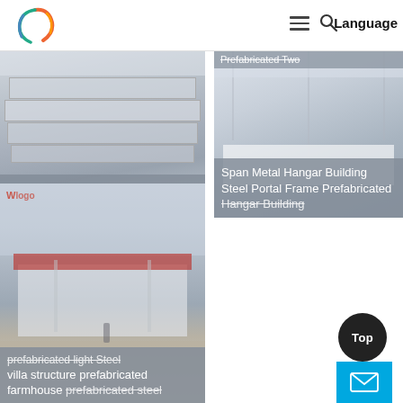Language
[Figure (photo): Prefabricated building oilfield container camp modular building - rows of white modular containers in a desert/industrial setting]
Prefabricated building oilfield container camp modular building
[Figure (photo): Prefabricated Two Span Metal Hangar Building Steel Portal Frame Prefabricated Hangar Building - interior view of large steel frame hangar structure]
Prefabricated Two Span Metal Hangar Building Steel Portal Frame Prefabricated Hangar Building
[Figure (photo): prefabricated light steel villa structure prefabricated farmhouse prefabricated steel - a small prefab building with red roof in a sandy/snowy open area]
prefabricated light steel villa structure prefabricated farmhouse prefabricated steel